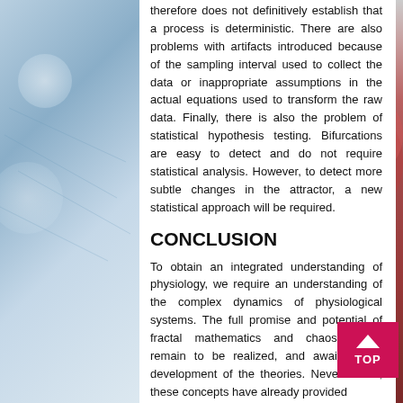therefore does not definitively establish that a process is deterministic. There are also problems with artifacts introduced because of the sampling interval used to collect the data or inappropriate assumptions in the actual equations used to transform the raw data. Finally, there is also the problem of statistical hypothesis testing. Bifurcations are easy to detect and do not require statistical analysis. However, to detect more subtle changes in the attractor, a new statistical approach will be required.
CONCLUSION
To obtain an integrated understanding of physiology, we require an understanding of the complex dynamics of physiological systems. The full promise and potential of fractal mathematics and chaos theory remain to be realized, and await further development of the theories. Nevertheless, these concepts have already provided
[Figure (illustration): Decorative left panel with blue/gray gradient background and light circular glare effects. Right panel shows a partial anatomical illustration of a human heart with red and dark tones. A pink/red TOP navigation button with upward triangle arrow appears at bottom right.]